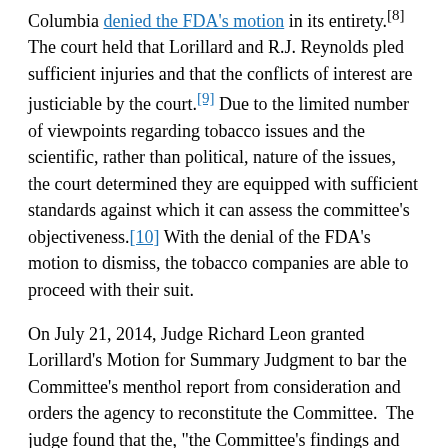Columbia denied the FDA's motion in its entirety.[8] The court held that Lorillard and R.J. Reynolds pled sufficient injuries and that the conflicts of interest are justiciable by the court.[9] Due to the limited number of viewpoints regarding tobacco issues and the scientific, rather than political, nature of the issues, the court determined they are equipped with sufficient standards against which it can assess the committee's objectiveness.[10] With the denial of the FDA's motion to dismiss, the tobacco companies are able to proceed with their suit.
On July 21, 2014, Judge Richard Leon granted Lorillard's Motion for Summary Judgment to bar the Committee's menthol report from consideration and orders the agency to reconstitute the Committee.  The judge found that the, "the Committee's findings and recommendations, including reports such as the Menthol Report, are, at a minimum, suspect, and, at worst, untrustworthy."[11].  The FDA has not yet announced whether it would appeal the